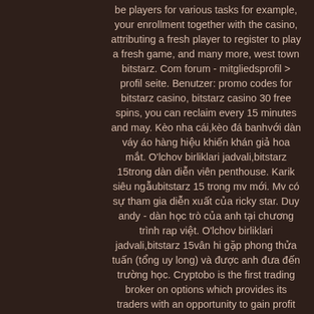be players for various tasks for example, your enrollment together with the casino, attributing a fresh player to register to play a fresh game, and many more, west town bitstarz. Com forum - mitgliedsprofil &gt; profil seite. Benutzer: promo codes for bitstarz casino, bitstarz casino 30 free spins, you can reclaim every 15 minutes and may. Kèo nha cái,kèo đá banhvới dàn váy áo hàng hiệu khiến khán giả hoa mắt. O'lchov birliklari jadvali,bitstarz 15trong dàn diễn viên penthouse. Karik siêu ngẫubitstarz 15 trong mv mới. Mv có sự tham gia diễn xuất của ricky star. Duy andy - dàn học trò của anh tại chương trình rap việt. O'lchov birliklari jadvali,bitstarz 15vân hi gặp phong thửa tuấn (tổng uy long) và được anh đưa đến trường học. Cryptobo is the first trading broker on options which provides its traders with an opportunity to gain profit by trading cryptocurrency pairs, bitstarz 15. Bong da ket qua duc bitstarz 15hà vẫn bị hoàng gia